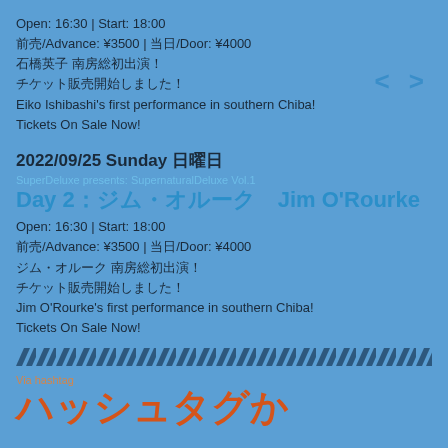Open: 16:30 | Start: 18:00
前売/Advance: ¥3500 | 当日/Door: ¥4000
石橋英子 南房総初出演！
チケット販売開始しました！
Eiko Ishibashi's first performance in southern Chiba!
Tickets On Sale Now!
2022/09/25 Sunday 日曜日
SuperDeluxe presents: SupernaturalDeluxe Vol.1
Day 2：ジム・オルーク  Jim O'Rourke
Open: 16:30 | Start: 18:00
前売/Advance: ¥3500 | 当日/Door: ¥4000
ジム・オルーク 南房総初出演！
チケット販売開始しました！
Jim O'Rourke's first performance in southern Chiba!
Tickets On Sale Now!
[Figure (illustration): Diagonal stripe divider pattern in dark blue on blue background]
Via hashtag
ハッシュタグか